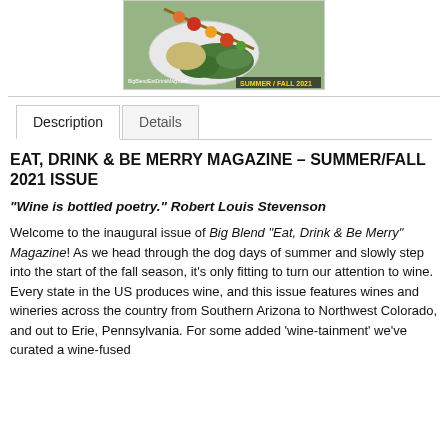[Figure (photo): Magazine cover photo showing food skewers on a plate with salad greens, labeled BigBlendEatDrinkMag.com SUMMER / FALL 2021]
Description	Details
EAT, DRINK & BE MERRY MAGAZINE – SUMMER/FALL 2021 ISSUE
“Wine is bottled poetry.” Robert Louis Stevenson
Welcome to the inaugural issue of Big Blend “Eat, Drink & Be Merry” Magazine! As we head through the dog days of summer and slowly step into the start of the fall season, it’s only fitting to turn our attention to wine. Every state in the US produces wine, and this issue features wines and wineries across the country from Southern Arizona to Northwest Colorado, and out to Erie, Pennsylvania. For some added ‘wine-tainment’ we’ve curated a wine-fused